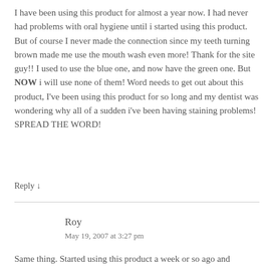I have been using this product for almost a year now. I had never had problems with oral hygiene until i started using this product. But of course I never made the connection since my teeth turning brown made me use the mouth wash even more! Thank for the site guy!! I used to use the blue one, and now have the green one. But NOW i will use none of them! Word needs to get out about this product, I've been using this product for so long and my dentist was wondering why all of a sudden i've been having staining problems!
SPREAD THE WORD!
Reply ↓
Roy
May 19, 2007 at 3:27 pm
Same thing. Started using this product a week or so ago and